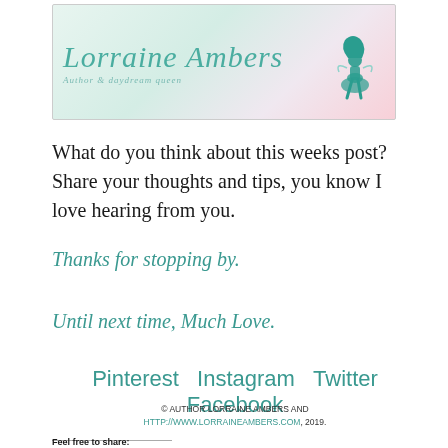[Figure (illustration): Lorraine Ambers blog banner with cursive logo text 'Lorraine Ambers', subtitle 'Author & daydream queen', decorative background with light teal and pink tones, silhouette of a fairy-like figure on the right]
What do you think about this weeks post? Share your thoughts and tips, you know I love hearing from you.
Thanks for stopping by.
Until next time, Much Love.
Pinterest  Instagram  Twitter  Facebook
© AUTHOR LORRAINE AMBERS AND HTTP://WWW.LORRAINEAMBERS.COM, 2019.
Feel free to share: